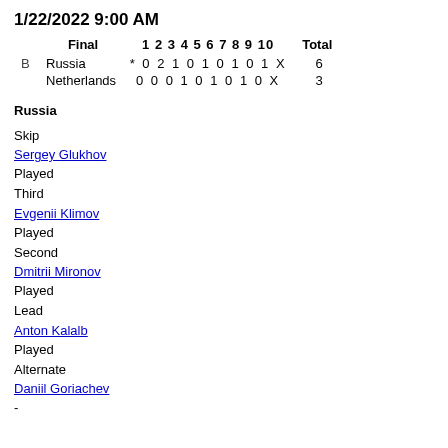1/22/2022 9:00 AM
|  | Final | 1 2 3 4 5 6 7 8 9 10 | Total |
| --- | --- | --- | --- |
| B | Russia | * 0 2 1 0 1 0 1 0 1 X | 6 |
|  | Netherlands | 0 0 0 1 0 1 0 1 0 X | 3 |
Russia
Skip
Sergey Glukhov
Played
Third
Evgenii Klimov
Played
Second
Dmitrii Mironov
Played
Lead
Anton Kalalb
Played
Alternate
Daniil Goriachev
-